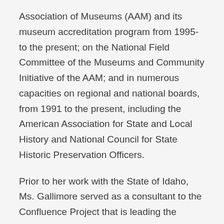Association of Museums (AAM) and its museum accreditation program from 1995-to the present; on the National Field Committee of the Museums and Community Initiative of the AAM; and in numerous capacities on regional and national boards, from 1991 to the present, including the American Association for State and Local History and National Council for State Historic Preservation Officers.
Prior to her work with the State of Idaho, Ms. Gallimore served as a consultant to the Confluence Project that is leading the creation of seven artworks by artist Maya Lin in the Pacific Northwest. From 1981-2003, she served as director of cultural resources for the Lake County Forest Preserves, an entrepreneurial agency in the north suburbs of Chicago, and...